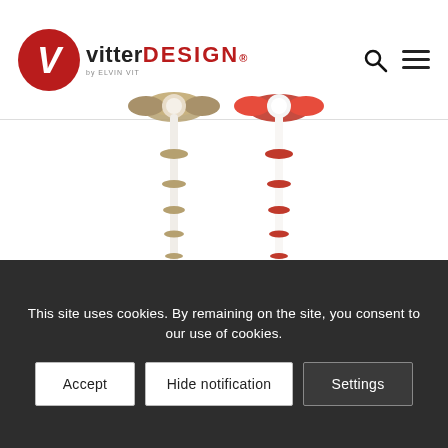[Figure (logo): Vitter Design logo with red circular V emblem and text 'vitterDESIGN' with subtitle 'by ELVIN VIT']
[Figure (photo): Two decorative vertical stands/hat racks — one in beige/gold on the left and one in red/white on the right, with circular disc arms at the top and multiple rings along the pole]
This site uses cookies. By remaining on the site, you consent to our use of cookies.
Accept
Hide notification
Settings